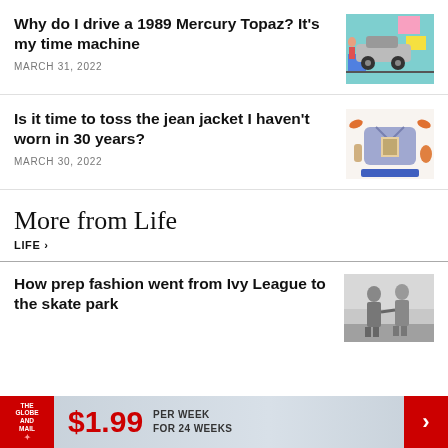Why do I drive a 1989 Mercury Topaz? It's my time machine
MARCH 31, 2022
[Figure (illustration): Colorful illustration of a retro car scene with geometric shapes in pink, blue, yellow, teal]
Is it time to toss the jean jacket I haven't worn in 30 years?
MARCH 30, 2022
[Figure (illustration): Illustration of a denim jacket with accessories and clothing items in orange, purple, blue]
More from Life
LIFE >
How prep fashion went from Ivy League to the skate park
[Figure (photo): Black and white photo of two people in preppy fashion]
$1.99 PER WEEK FOR 24 WEEKS